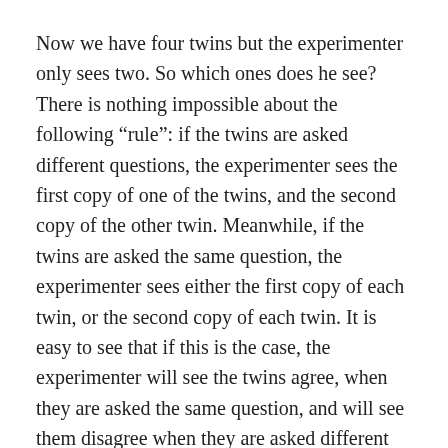Now we have four twins but the experimenter only sees two. So which ones does he see? There is nothing impossible about the following “rule”: if the twins are asked different questions, the experimenter sees the first copy of one of the twins, and the second copy of the other twin. Meanwhile, if the twins are asked the same question, the experimenter sees either the first copy of each twin, or the second copy of each twin. It is easy to see that if this is the case, the experimenter will see the twins agree, when they are asked the same question, and will see them disagree when they are asked different questions (thus agreeing less than 1/3 of the time in that situation.)